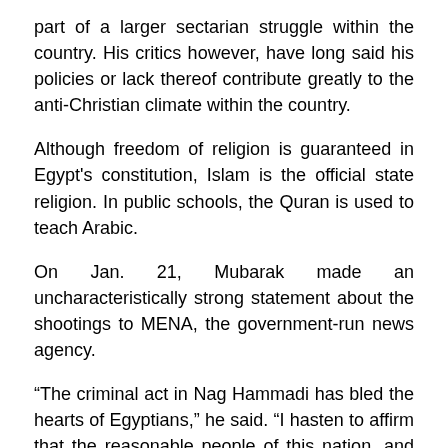part of a larger sectarian struggle within the country. His critics however, have long said his policies or lack thereof contribute greatly to the anti-Christian climate within the country.
Although freedom of religion is guaranteed in Egypt's constitution, Islam is the official state religion. In public schools, the Quran is used to teach Arabic.
On Jan. 21, Mubarak made an uncharacteristically strong statement about the shootings to MENA, the government-run news agency.
“The criminal act in Nag Hammadi has bled the hearts of Egyptians,” he said. “I hasten to affirm that the reasonable people of this nation, and its religious leaders and thinkers … bear the greater responsibility to contain discord and